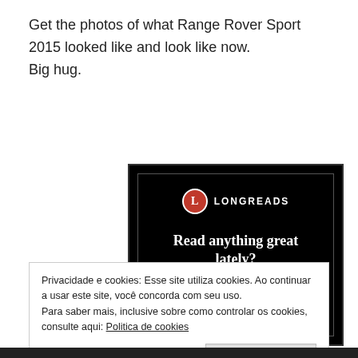Get the photos of what Range Rover Sport 2015 looked like and look like now.
Big hug.
[Figure (screenshot): Longreads website advertisement with dark background. Shows the Longreads logo (red circle with 'L' and 'LONGREADS' text), headline 'Read anything great lately?' and a red 'Start reading' button.]
Privacidade e cookies: Esse site utiliza cookies. Ao continuar a usar este site, você concorda com seu uso.
Para saber mais, inclusive sobre como controlar os cookies, consulte aqui: Politica de cookies
Fechar e aceitar